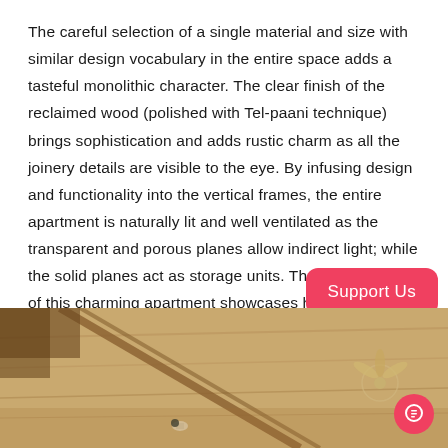The careful selection of a single material and size with similar design vocabulary in the entire space adds a tasteful monolithic character. The clear finish of the reclaimed wood (polished with Tel-paani technique) brings sophistication and adds rustic charm as all the joinery details are visible to the eye. By infusing design and functionality into the vertical frames, the entire apartment is naturally lit and well ventilated as the transparent and porous planes allow indirect light; while the solid planes act as storage units. The interior design of this charming apartment showcases how intelligent design solutions can bring warmth and character to space without compromising on the functionalities.
[Figure (photo): Interior photo showing reclaimed wood ceiling with beams and a ceiling fan, warm brown tones]